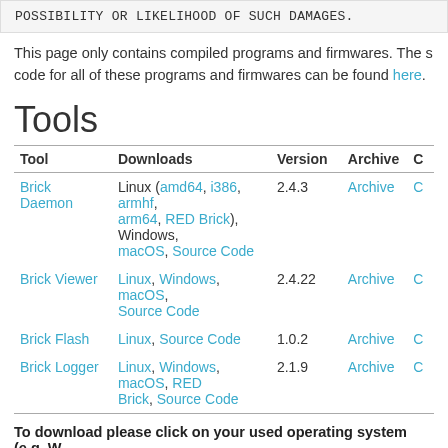POSSIBILITY OR LIKELIHOOD OF SUCH DAMAGES.
This page only contains compiled programs and firmwares. The source code for all of these programs and firmwares can be found here.
Tools
| Tool | Downloads | Version | Archive | C |
| --- | --- | --- | --- | --- |
| Brick Daemon | Linux (amd64, i386, armhf, arm64, RED Brick), Windows, macOS, Source Code | 2.4.3 | Archive | C |
| Brick Viewer | Linux, Windows, macOS, Source Code | 2.4.22 | Archive | C |
| Brick Flash | Linux, Source Code | 1.0.2 | Archive | C |
| Brick Logger | Linux, Windows, macOS, RED Brick, Source Code | 2.1.9 | Archive | C |
To download please click on your used operating system (e.g. W